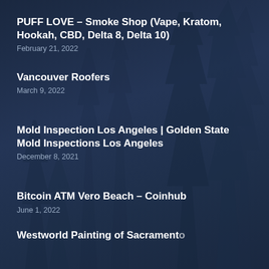PUFF LOVE – Smoke Shop (Vape, Kratom, Hookah, CBD, Delta 8, Delta 10)
February 21, 2022
Vancouver Roofers
March 9, 2022
Mold Inspection Los Angeles | Golden State Mold Inspections Los Angeles
December 8, 2021
Bitcoin ATM Vero Beach – Coinhub
June 1, 2022
Westworld Painting of Sacramento